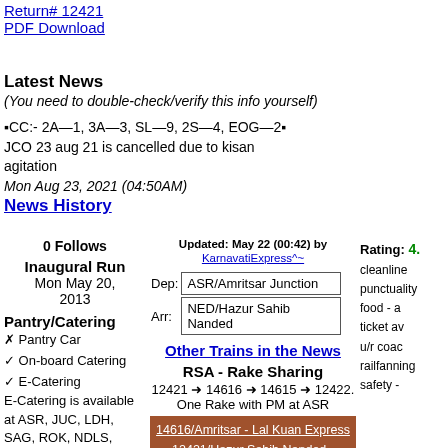Return# 12421
PDF Download
Latest News
(You need to double-check/verify this info yourself)
▪CC:- 2A—1, 3A—3, SL—9, 2S—4, EOG—2▪ JCO 23 aug 21 is cancelled due to kisan agitation
Mon Aug 23, 2021 (04:50AM)
News History
0 Follows
Inaugural Run
Mon May 20, 2013
Pantry/Catering
✗ Pantry Car
✓ On-board Catering
✓ E-Catering
E-Catering is available at ASR, JUC, LDH, SAG, ROK, NDLS, BINA,...
more
Updated: May 22 (00:42) by KarnavatiExpress^~
Dep: ASR/Amritsar Junction
Arr: NED/Hazur Sahib Nanded
Other Trains in the News
RSA - Rake Sharing
12421 ➜ 14616 ➜ 14615 ➜ 12422. One Rake with PM at ASR
14616/Amritsar - Lal Kuan Express
12421/Hazur Sahib Nanded - Amritsar SF Express
12422/Amritsar - Hazur Sahib Nanded SF Express
show more
Rating: 4.
cleanline
punctuality
food - a
ticket av
u/r coac
railfanning
safety -